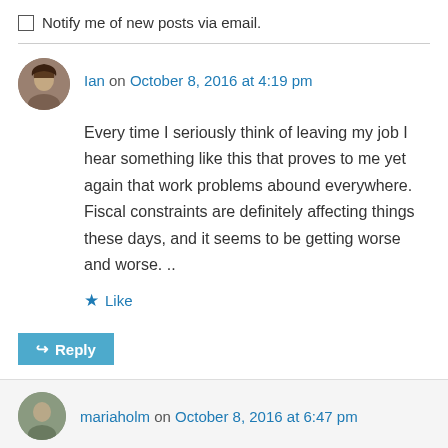Notify me of new posts via email.
Ian on October 8, 2016 at 4:19 pm
Every time I seriously think of leaving my job I hear something like this that proves to me yet again that work problems abound everywhere. Fiscal constraints are definitely affecting things these days, and it seems to be getting worse and worse. ..
Like
Reply
mariaholm on October 8, 2016 at 6:47 pm